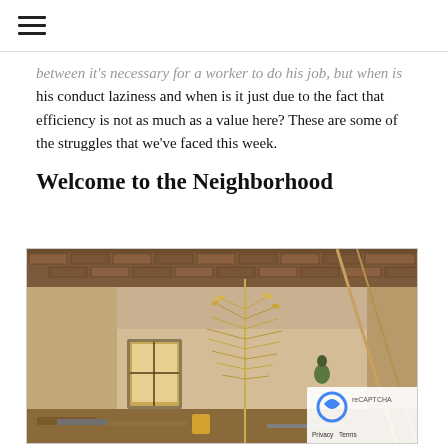≡ (hamburger menu)
between it's necessary for a worker to do his job, but when is his conduct laziness and when is it just due to the fact that efficiency is not as much as a value here? These are some of the struggles that we've faced this week.
Welcome to the Neighborhood
[Figure (photo): Interior of a building under construction with brick walls visible at top, plastered interior walls, a window with wooden frame, a tall dry grass/weed plant in the foreground, construction materials and debris on the floor, and a person visible in the background.]